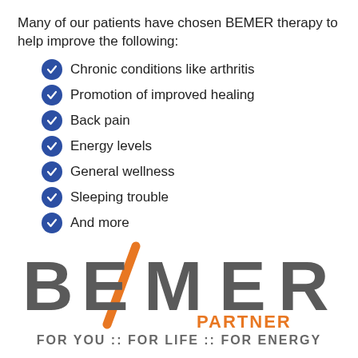Many of our patients have chosen BEMER therapy to help improve the following:
Chronic conditions like arthritis
Promotion of improved healing
Back pain
Energy levels
General wellness
Sleeping trouble
And more
[Figure (logo): BEMER PARTNER logo with orange diagonal slash and gray letters, tagline FOR YOU :: FOR LIFE :: FOR ENERGY]